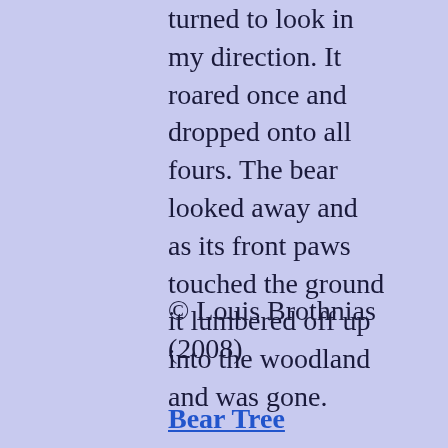turned to look in my direction. It roared once and dropped onto all fours. The bear looked away and as its front paws touched the ground it lumbered off up into the woodland and was gone.
© Louis Brothnias (2008)
Bear Tree